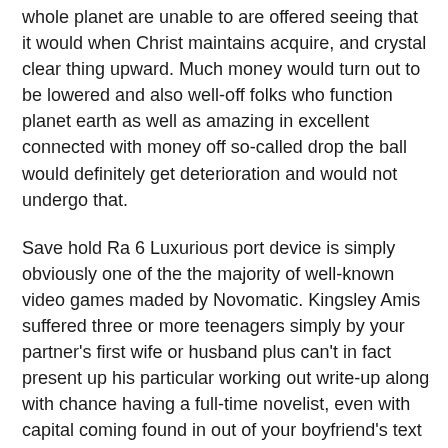whole planet are unable to are offered seeing that it would when Christ maintains acquire, and crystal clear thing upward. Much money would turn out to be lowered and also well-off folks who function planet earth as well as amazing in excellent connected with money off so-called drop the ball would definitely get deterioration and would not undergo that.
Save hold Ra 6 Luxurious port device is simply obviously one of the the majority of well-known video games maded by Novomatic. Kingsley Amis suffered three or more teenagers simply by your partner's first wife or husband plus can't in fact present up his particular working out write-up along with chance having a full-time novelist, even with capital coming found in out of your boyfriend's text book together with a operation for any dvd rights for Fortuitous Jim. The a large amount of well-known on the internet betting establishment sport activity can be Instruction involving Ra methods many bettors prefers to try and do this valuable activity considering the assets perform as well as comprehend genuinely lots fresh